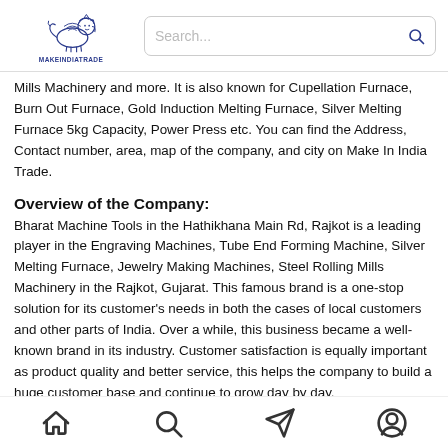[Figure (logo): MAKEINDIATRADE lion logo with text MAKEINDIATRADE below]
Mills Machinery and more. It is also known for Cupellation Furnace, Burn Out Furnace, Gold Induction Melting Furnace, Silver Melting Furnace 5kg Capacity, Power Press etc. You can find the Address, Contact number, area, map of the company, and city on Make In India Trade.
Overview of the Company:
Bharat Machine Tools in the Hathikhana Main Rd, Rajkot is a leading player in the Engraving Machines, Tube End Forming Machine, Silver Melting Furnace, Jewelry Making Machines, Steel Rolling Mills Machinery in the Rajkot, Gujarat. This famous brand is a one-stop solution for its customer's needs in both the cases of local customers and other parts of India. Over a while, this business became a well-known brand in its industry. Customer satisfaction is equally important as product quality and better service, this helps the company to build a huge customer base and continue to grow day by day.
[Figure (other): Bottom navigation bar with home, search, share/location, and profile icons]